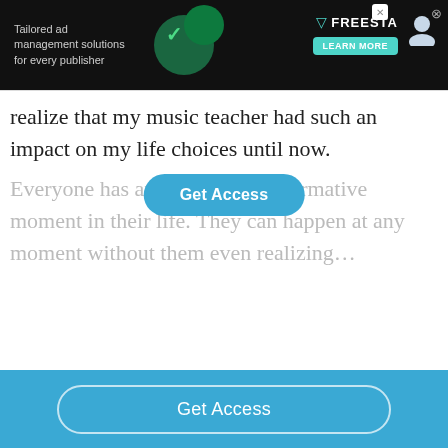[Figure (screenshot): Advertisement banner: 'Tailored ad management solutions for every publisher' with FREESTA logo and 'LEARN MORE' button on dark background]
realize that my music teacher had such an impact on my life choices until now.
Everyone has at least one transformative moment in their life. They can happen at any moment without them even realizing...
[Figure (other): Get Access pill-shaped button overlay in blue]
[Figure (other): Blue footer bar with 'Get Access' button]